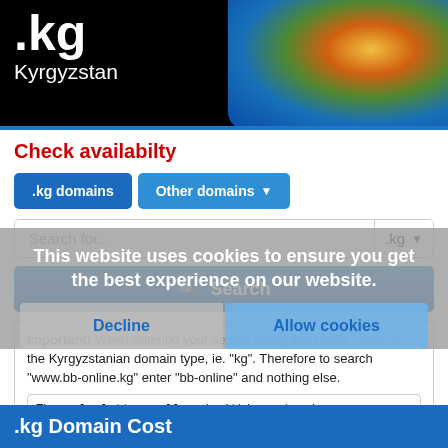[Figure (screenshot): Banner with .kg Kyrgyzstan text on black background with globe graphic on right]
Check availabilty
.kg domains | Other domains
Search for... .kg ▾
Search
Important: When entering your search string don't write "www" or the Kyrgyzstanian domain type, ie. "kg". Therefore to search "www.bb-online.kg" enter "bb-online" and nothing else.
The only letters allowed within a domain name are:
a b c d e f g h i j k l m n o p q r s t u v w x y z - 0 1 2 3 4 5 6 7 8 9. Spaces are NOT ALLOWED.
This website uses cookies to ensure you get the best experience on our website.
Decline | Allow cookies
.kg Domain Cost